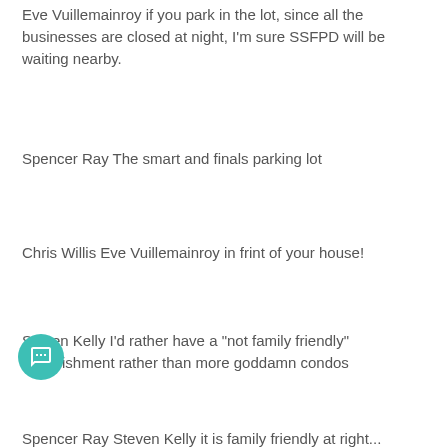Eve Vuillemainroy if you park in the lot, since all the businesses are closed at night, I'm sure SSFPD will be waiting nearby.
Spencer Ray The smart and finals parking lot
Chris Willis Eve Vuillemainroy in frint of your house!
Steven Kelly I'd rather have a "not family friendly" establishment rather than more goddamn condos
Spencer Ray Steven Kelly it is family friendly at right...